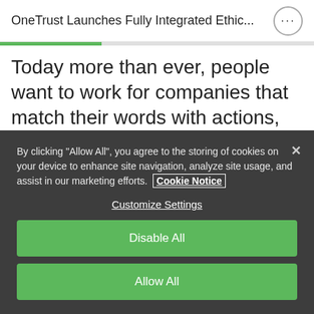OneTrust Launches Fully Integrated Ethic...
Today more than ever, people want to work for companies that match their words with actions, align with their values and treat employees with respect. Treating employees and customers well
By clicking “Allow All”, you agree to the storing of cookies on your device to enhance site navigation, analyze site usage, and assist in our marketing efforts. Cookie Notice
Customize Settings
Disable All
Allow All